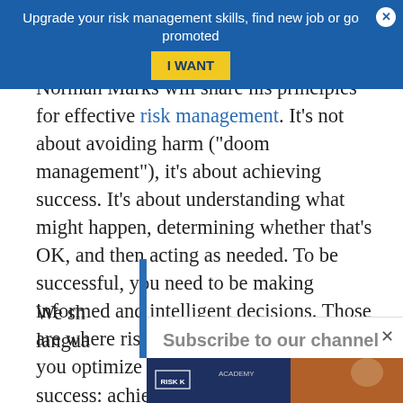Upgrade your risk management skills, find new job or go promoted  I WANT
Norman Marks will share his principles for effective risk management. It’s not about avoiding harm (“doom management”), it’s about achieving success. It’s about understanding what might happen, determining whether that’s OK, and then acting as needed. To be successful, you need to be making informed and intelligent decisions. Those are where risks are taken. That is how you optimize the likelihood and extent of success: achieving objectives.
Subscribe to our channel
We sh… langua…